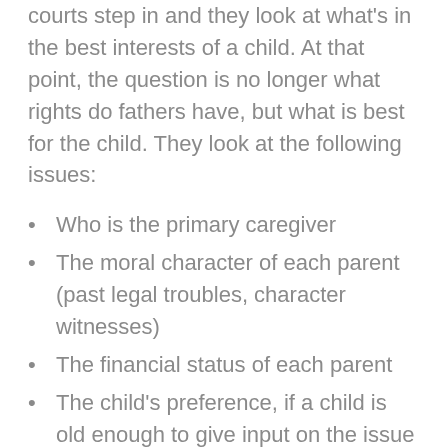courts step in and they look at what's in the best interests of a child. At that point, the question is no longer what rights do fathers have, but what is best for the child. They look at the following issues:
Who is the primary caregiver
The moral character of each parent (past legal troubles, character witnesses)
The financial status of each parent
The child's preference, if a child is old enough to give input on the issue
They consider things like the mental health of each parent, cultural considerations, the home